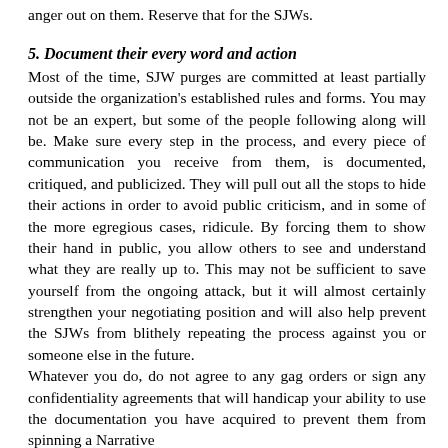anger out on them. Reserve that for the SJWs.
5. Document their every word and action
Most of the time, SJW purges are committed at least partially outside the organization’s established rules and forms. You may not be an expert, but some of the people following along will be. Make sure every step in the process, and every piece of communication you receive from them, is documented, critiqued, and publicized. They will pull out all the stops to hide their actions in order to avoid public criticism, and in some of the more egregious cases, ridicule. By forcing them to show their hand in public, you allow others to see and understand what they are really up to. This may not be sufficient to save yourself from the ongoing attack, but it will almost certainly strengthen your negotiating position and will also help prevent the SJWs from blithely repeating the process against you or someone else in the future.
Whatever you do, do not agree to any gag orders or sign any confidentiality agreements that will handicap your ability to use the documentation you have acquired to prevent them from spinning a Narrative